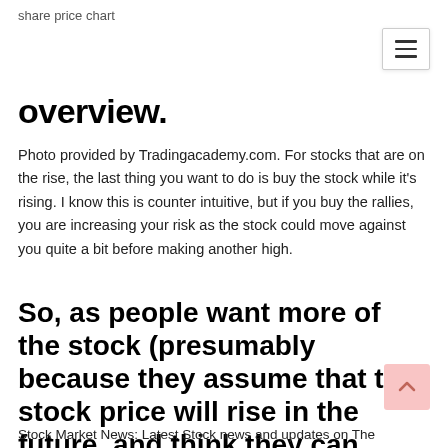share price chart
overview.
Photo provided by Tradingacademy.com. For stocks that are on the rise, the last thing you want to do is buy the stock while it's rising. I know this is counter intuitive, but if you buy the rallies, you are increasing your risk as the stock could move against you quite a bit before making another high.
So, as people want more of the stock (presumably because they assume that the stock price will rise in the future, and think they can ultimately make a profit) the
Stock Market News: Latest Stock news and updates on The